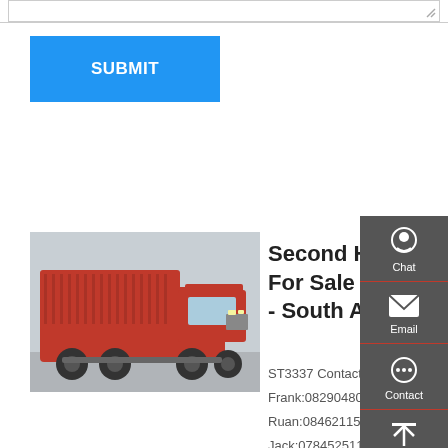[Figure (screenshot): Top portion of a form with a text input area and resize handle visible]
SUBMIT
[Figure (photo): Red FAW dump truck (tipper) parked in front of a building]
Second Hand FAW Trucks Ads For Sale - South Africa
ST3337 Contact:
Frank:0829048050
Ruan:0846211532
Jack:0784525117. Other trucks South Africa. POA. FAW 35.340FD - 15m3 Tipper. Other